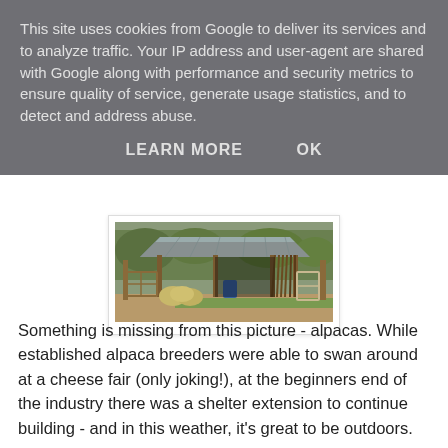This site uses cookies from Google to deliver its services and to analyze traffic. Your IP address and user-agent are shared with Google along with performance and security metrics to ensure quality of service, generate usage statistics, and to detect and address abuse.
LEARN MORE   OK
[Figure (photo): A rustic farm shelter or barn structure made of wooden poles and branches with a corrugated metal roof. Hay bales and blue barrels are visible inside. A wooden gate is on the left, and leaning wooden frames are on the right. Green vegetation in the background.]
Something is missing from this picture - alpacas. While established alpaca breeders were able to swan around at a cheese fair (only joking!), at the beginners end of the industry there was a shelter extension to continue building - and in this weather, it's great to be outdoors.